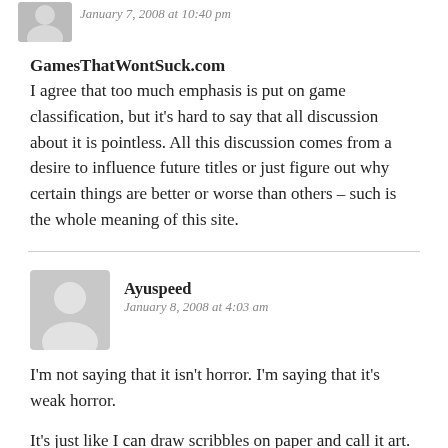January 7, 2008 at 10:40 pm
GamesThatWontSuck.com
I agree that too much emphasis is put on game classification, but it's hard to say that all discussion about it is pointless. All this discussion comes from a desire to influence future titles or just figure out why certain things are better or worse than others – such is the whole meaning of this site.
Ayuspeed
January 8, 2008 at 4:03 am
I'm not saying that it isn't horror. I'm saying that it's weak horror.
It's just like I can draw scribbles on paper and call it art. It may be bad art, but its still art. Bad art.
I also find it interesting that you don't think its right for